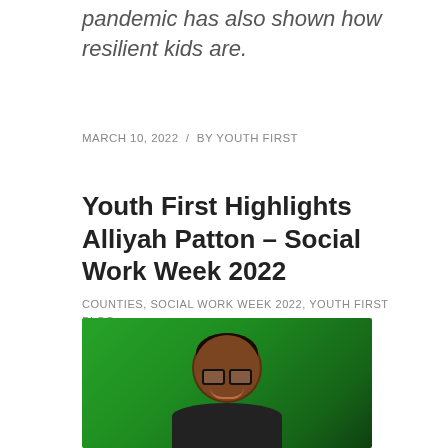pandemic has also shown how resilient kids are.
MARCH 10, 2022  /  BY YOUTH FIRST
Youth First Highlights Alliyah Patton – Social Work Week 2022
COUNTIES, SOCIAL WORK WEEK 2022, YOUTH FIRST BLOG
[Figure (photo): Portrait photo of Alliyah Patton, a young Black woman with braided hair and glasses, smiling against a bright green background.]